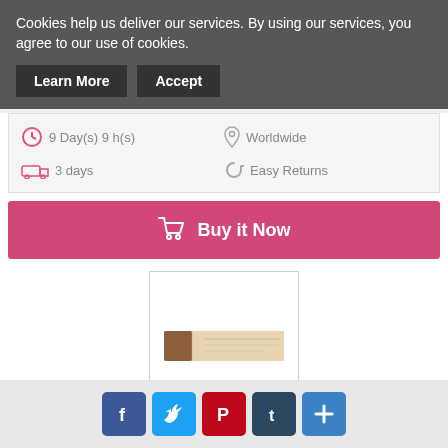Cookies help us deliver our services. By using our services, you agree to our use of cookies.
Learn More  Accept
9 Day(s) 9 h(s)
Worldwide
3 days
Easy Returns
Buy it Now
[Figure (photo): Product photo of Think Products Thin Bar - White Choc...]
Think Products Thin Bar - White Choc...
$45.29
[Figure (infographic): Social sharing icons: Facebook, Twitter, Pinterest, Tumblr, More]